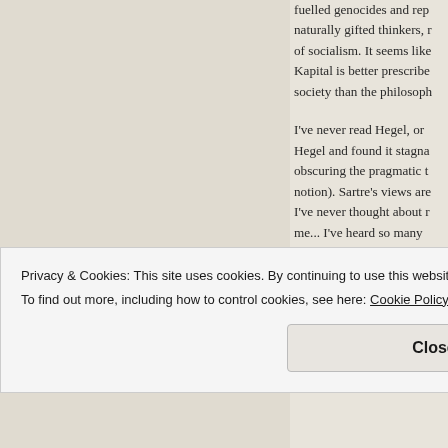fuelled genocides and rep naturally gifted thinkers, r of socialism. It seems like Kapital is better prescribe society than the philosoph
I've never read Hegel, or Hegel and found it stagna obscuring the pragmatic t notion). Sartre's views are I've never thought about r me... I've heard so many about Martin. And he did s ps elle
Privacy & Cookies: This site uses cookies. By continuing to use this website, you agree to their use.
To find out more, including how to control cookies, see here: Cookie Policy
Close and accept